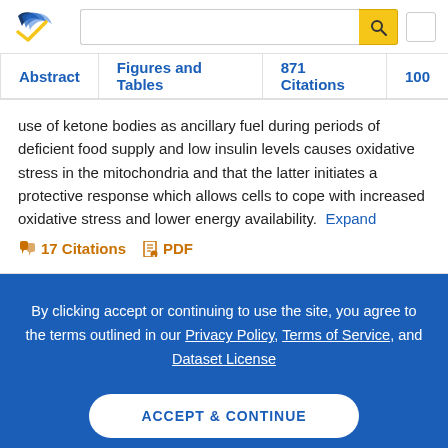[Figure (logo): Semantic Scholar logo - blue and gold checkmark/arrow symbol]
Abstract | Figures and Tables | 871 Citations | 100
use of ketone bodies as ancillary fuel during periods of deficient food supply and low insulin levels causes oxidative stress in the mitochondria and that the latter initiates a protective response which allows cells to cope with increased oxidative stress and lower energy availability.
Expand
17 Citations   PDF
By clicking accept or continuing to use the site, you agree to the terms outlined in our Privacy Policy, Terms of Service, and Dataset License
ACCEPT & CONTINUE